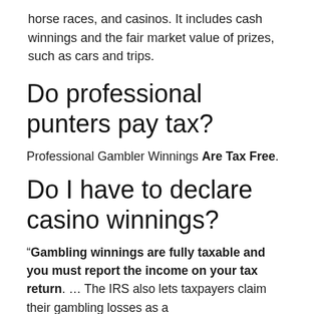horse races, and casinos. It includes cash winnings and the fair market value of prizes, such as cars and trips.
Do professional punters pay tax?
Professional Gambler Winnings Are Tax Free.
Do I have to declare casino winnings?
“Gambling winnings are fully taxable and you must report the income on your tax return. ... The IRS also lets taxpayers claim their gambling losses as a